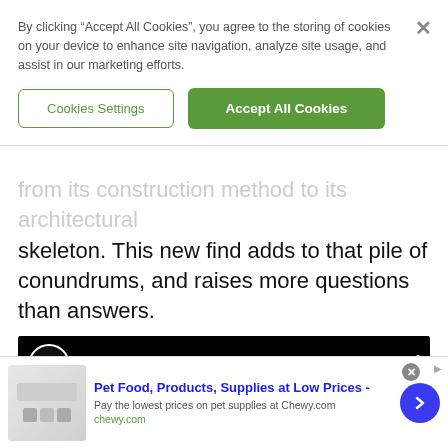By clicking “Accept All Cookies”, you agree to the storing of cookies on your device to enhance site navigation, analyze site usage, and assist in our marketing efforts.
Cookies Settings
Accept All Cookies
from its construction method to its architectural skeleton. This new find adds to that pile of conundrums, and raises more questions than answers.
[Figure (screenshot): Video thumbnail for ScanPyramids 2017 on the Nature channel. Black header bar with Nature logo circle and title text, below is a blue/teal image with large white SCAN/PYRAMIDS text.]
[Figure (screenshot): Advertisement banner: Pet Food, Products, Supplies at Low Prices - Pay the lowest prices on pet supplies at Chewy.com. chewy.com]